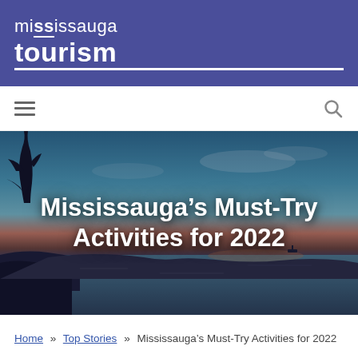mississauga tourism
[Figure (screenshot): Navigation bar with hamburger menu icon on the left and search magnifier icon on the right, white background]
[Figure (photo): Twilight lakefront photo of Mississauga with text overlay 'Mississauga's Must-Try Activities for 2022']
Mississauga’s Must-Try Activities for 2022
Home » Top Stories » Mississauga’s Must-Try Activities for 2022